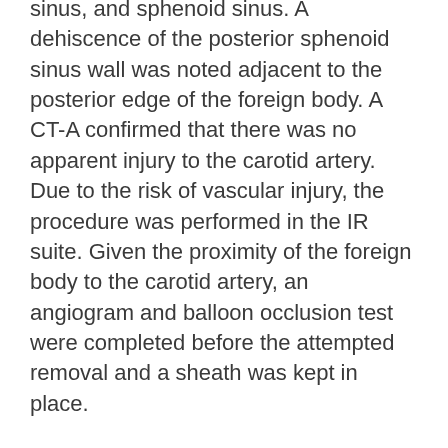sinus, and sphenoid sinus. A dehiscence of the posterior sphenoid sinus wall was noted adjacent to the posterior edge of the foreign body. A CT-A confirmed that there was no apparent injury to the carotid artery. Due to the risk of vascular injury, the procedure was performed in the IR suite. Given the proximity of the foreign body to the carotid artery, an angiogram and balloon occlusion test were completed before the attempted removal and a sheath was kept in place.
A combined endoscopic and open approach was performed by the ophthalmology and otolaryngology services department. A septoplasty with posterior septectomy, left total ethmoidectomy and bilateral sphenoidotomy was required to expose the object. Following this, the team was able to see a stick entering the ethmoid sinus at the lamina paprycea and